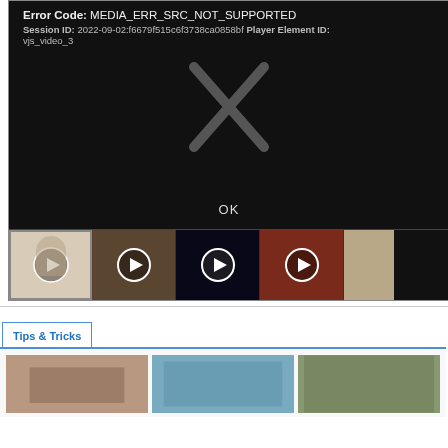Error Code: MEDIA_ERR_SRC_NOT_SUPPORTED
Session ID: 2022-09-02:f6679f515c6f3738ca0858bf Player Element ID: vjs_video_3
[Figure (screenshot): Video player error screen showing large X icon on black background with OK button]
[Figure (screenshot): Row of 5 video thumbnails in a playlist/carousel beneath the error player]
Tips & Tricks
[Figure (screenshot): Three thumbnail images for tips and tricks articles at bottom of page]